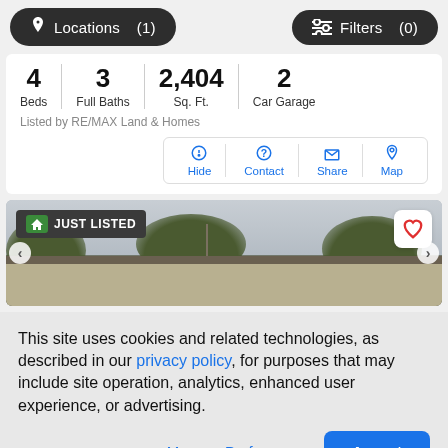Locations (1)   Filters (0)
| Beds | Full Baths | Sq. Ft. | Car Garage |
| --- | --- | --- | --- |
| 4 | 3 | 2,404 | 2 |
Listed by RE/MAX Land & Homes
Hide   Contact   Share   Map
[Figure (photo): Just Listed house photo with trees and cloudy sky. Badge reads JUST LISTED. Heart icon in top right.]
This site uses cookies and related technologies, as described in our privacy policy, for purposes that may include site operation, analytics, enhanced user experience, or advertising.
Manage Preferences   Accept